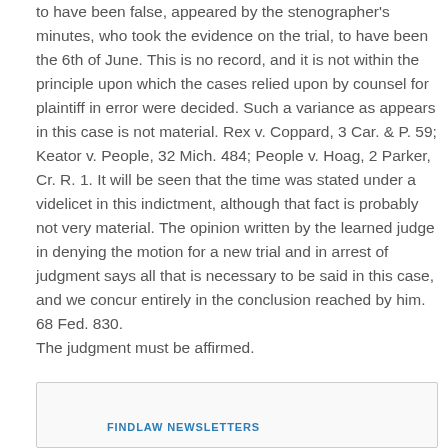to have been false, appeared by the stenographer's minutes, who took the evidence on the trial, to have been the 6th of June. This is no record, and it is not within the principle upon which the cases relied upon by counsel for plaintiff in error were decided. Such a variance as appears in this case is not material. Rex v. Coppard, 3 Car. & P. 59; Keator v. People, 32 Mich. 484; People v. Hoag, 2 Parker, Cr. R. 1. It will be seen that the time was stated under a videlicet in this indictment, although that fact is probably not very material. The opinion written by the learned judge in denying the motion for a new trial and in arrest of judgment says all that is necessary to be said in this case, and we concur entirely in the conclusion reached by him. 68 Fed. 830.
The judgment must be affirmed.
FINDLAW NEWSLETTERS